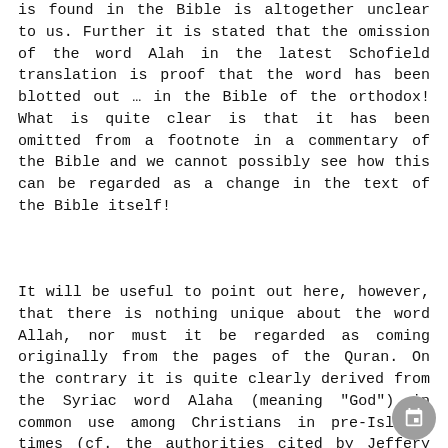is found in the Bible is altogether unclear to us. Further it is stated that the omission of the word Alah in the latest Schofield translation is proof that the word has been blotted out ... in the Bible of the orthodox! What is quite clear is that it has been omitted from a footnote in a commentary of the Bible and we cannot possibly see how this can be regarded as a change in the text of the Bible itself!
It will be useful to point out here, however, that there is nothing unique about the word Allah, nor must it be regarded as coming originally from the pages of the Quran. On the contrary it is quite clearly derived from the Syriac word Alaha (meaning "God") in common use among Christians in pre-Islamic times (cf. the authorities cited by Jeffery in The Foreign Vocabulary of the Quran, p.66). It was also in common use among the Arabs before Islam as